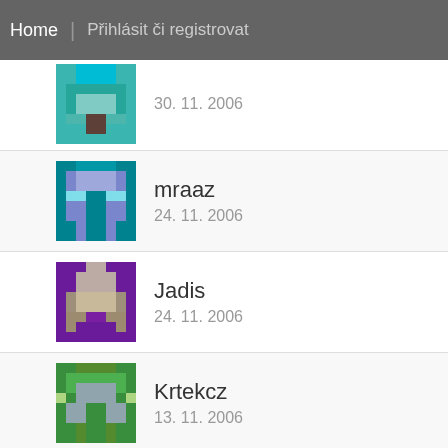Home | Přihlásit či registrovat
30. 11. 2006
mraaz
24. 11. 2006
Jadis
24. 11. 2006
Krtekcz
13. 11. 2006
Sparrow,Jack Sparrow
8. 11. 2006
hviezdicka
1. 11. 2006
viki1000000
25. 10. 2006